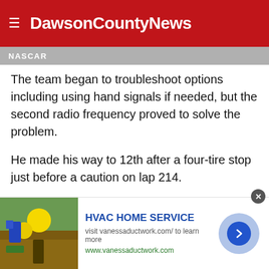DawsonCountyNews
NASCAR
The team began to troubleshoot options including using hand signals if needed, but the second radio frequency proved to solve the problem.
He made his way to 12th after a four-tire stop just before a caution on lap 214.
With 46 laps to go the field was ready for restart where Elliott was in 8th.
Jimmie Johnson was in the top spot for the restart and could not get his car in gear. The issue with his transmission led to
[Figure (other): Advertisement banner for HVAC Home Service showing gardening image, text 'HVAC HOME SERVICE', URL vanessaductwork.com, and a right-arrow navigation button]